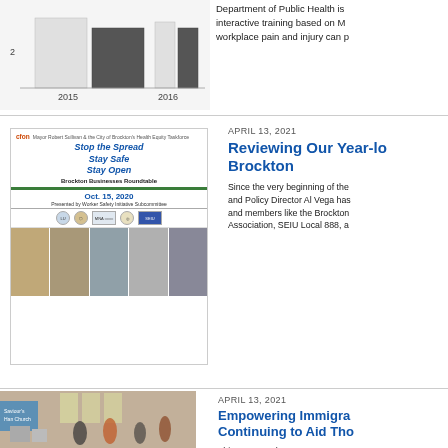[Figure (bar-chart): Partial bar chart showing data for 2015 and 2016, with y-axis value of 2 visible]
Department of Public Health is interactive training based on M workplace pain and injury can p
[Figure (photo): Poster for Brockton Businesses Roundtable - Stop the Spread Stay Safe Stay Open, Oct. 15, 2020, presented by Worker Safety Initiative Subcommittee, with logos and photos of workers]
APRIL 13, 2021
Reviewing Our Year-lo Brockton
Since the very beginning of the and Policy Director Al Vega has and members like the Brockton Association, SEIU Local 888, a
[Figure (photo): Photo of people inside a community center or church, with a sign reading Saviour's Han Church, people wearing masks]
APRIL 13, 2021
Empowering Immigra Continuing to Aid Tho
This past March was Women's